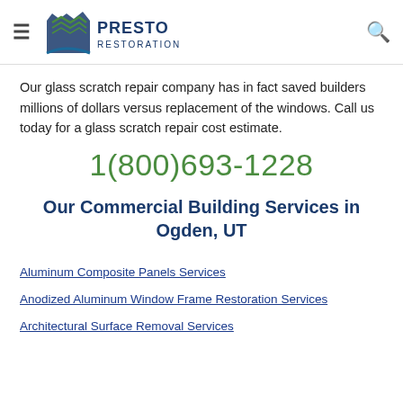Presto Restoration
Our glass scratch repair company has in fact saved builders millions of dollars versus replacement of the windows. Call us today for a glass scratch repair cost estimate.
1(800)693-1228
Our Commercial Building Services in Ogden, UT
Aluminum Composite Panels Services
Anodized Aluminum Window Frame Restoration Services
Architectural Surface Removal Services